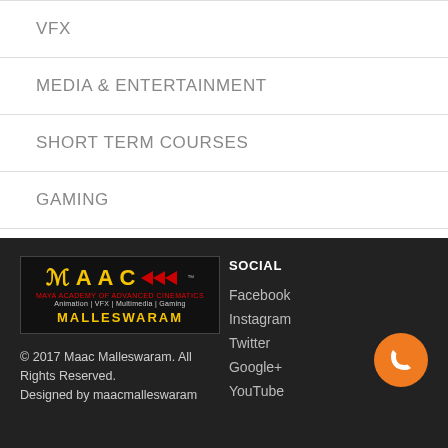VFX
MEDIA & ENTERTAINMENT
SHORT TERM COURSES
GAMING
[Figure (logo): MAAC Malleswaram logo with yellow text, red arrows, black background]
© 2017 Maac Malleswaram. All Rights Reserved. Designed by maacmalleswaram
SOCIAL
Facebook
Instagram
Twitter
Google+
YouTube